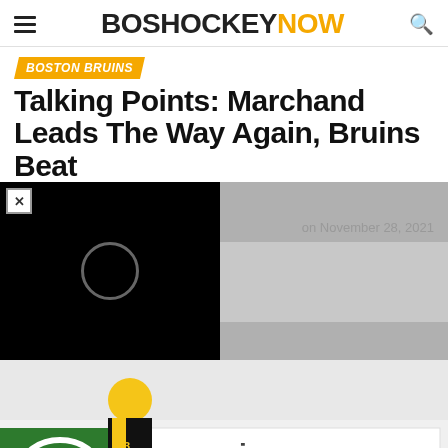BOSHOCKEYNOW
BOSTON BRUINS
Talking Points: Marchand Leads The Way Again, Bruins Beat
on November 28, 2021
[Figure (photo): Black video overlay panel with close X button and circular play indicator]
[Figure (photo): Hockey action photo showing Boston Bruins player in yellow/black jersey colliding with Vancouver Canucks player #23 in white/blue jersey, with Enterprise advertising board in background]